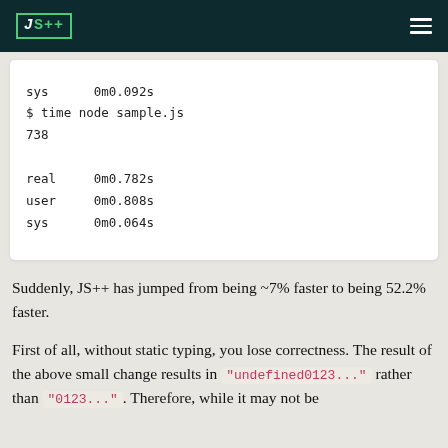JS++
sys	0m0.092s
$ time node sample.js
738

real	0m0.782s
user	0m0.808s
sys	0m0.064s
Suddenly, JS++ has jumped from being ~7% faster to being 52.2% faster.
First of all, without static typing, you lose correctness. The result of the above small change results in "undefined0123..." rather than "0123...". Therefore, while it may not be